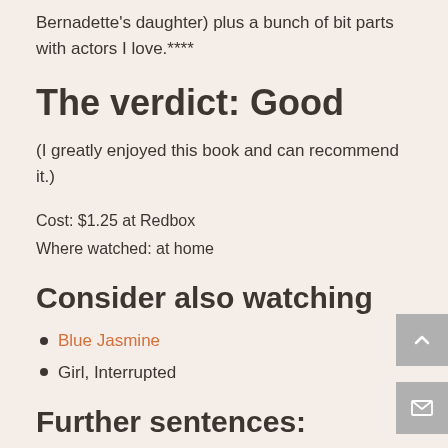Bernadette's daughter) plus a bunch of bit parts with actors I love.****
The verdict: Good
(I greatly enjoyed this book and can recommend it.)
Cost: $1.25 at Redbox
Where watched: at home
Consider also watching
Blue Jasmine
Girl, Interrupted
Further sentences: